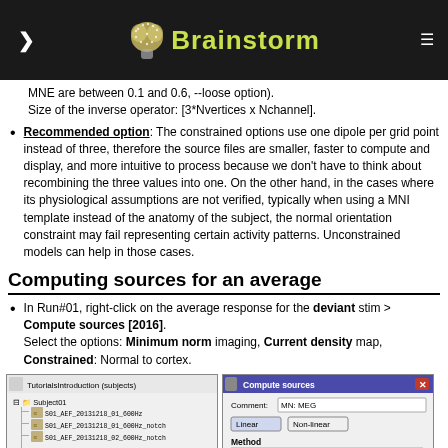Brainstorm
MNE are between 0.1 and 0.6, --loose option).
Size of the inverse operator: [3*Nvertices x Nchannel].
Recommended option: The constrained options use one dipole per grid point instead of three, therefore the source files are smaller, faster to compute and display, and more intuitive to process because we don't have to think about recombining the three values into one. On the other hand, in the cases where its physiological assumptions are not verified, typically when using a MNI template instead of the anatomy of the subject, the normal orientation constraint may fail representing certain activity patterns. Unconstrained models can help in those cases.
Computing sources for an average
In Run#01, right-click on the average response for the deviant stim > Compute sources [2016].
Select the options: Minimum norm imaging, Current density map, Constrained: Normal to cortex.
[Figure (screenshot): Two screenshots side by side: left shows a Brainstorm tutorial tree with Subject01 and MEG files, right shows a Compute sources dialog with MN: MEG comment, Linear/Non-linear buttons, and Method section.]